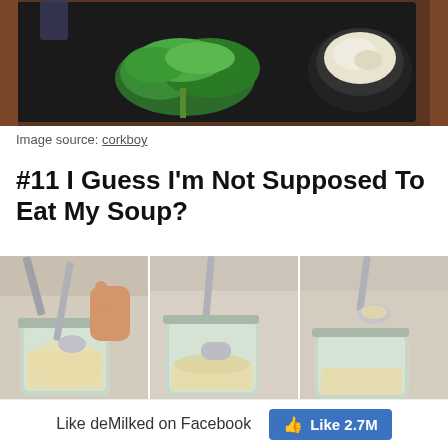[Figure (photo): Top portion of a restaurant/food photo showing a black serving board with fresh green herbs (parsley) and a small dark bowl with white creamy content, plus a glass in the background on a wooden table.]
Image source: corkboy
#11 I Guess I'm Not Supposed To Eat My Soup?
[Figure (photo): Three side-by-side sequential photos showing a glass jar containing soup (creamy/pale yellow liquid) with a spoon being inserted and used to try to scoop from the sealed/awkward jar container.]
Like deMilked on Facebook
[Figure (other): Facebook Like button showing 2.7M likes]